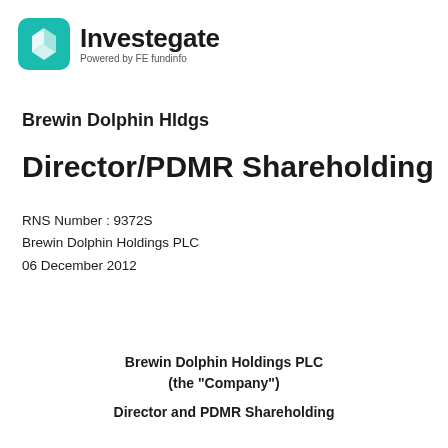[Figure (logo): Investegate logo with teal diamond/arrow icon and text 'Investegate' and 'Powered by FE fundinfo']
Brewin Dolphin Hldgs
Director/PDMR Shareholding
RNS Number : 9372S
Brewin Dolphin Holdings PLC
06 December 2012
Brewin Dolphin Holdings PLC
(the "Company")
Director and PDMR Shareholding